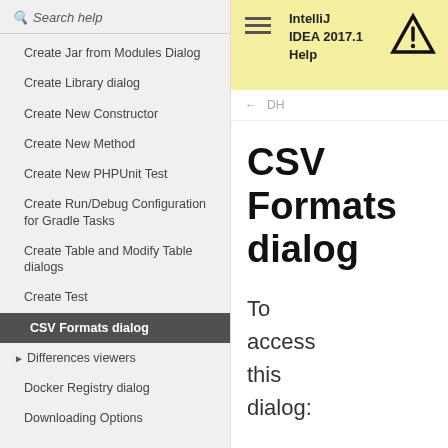Search help
Create Jar from Modules Dialog
Create Library dialog
Create New Constructor
Create New Method
Create New PHPUnit Test
Create Run/Debug Configuration for Gradle Tasks
Create Table and Modify Table dialogs
Create Test
CSV Formats dialog
Differences viewers
Docker Registry dialog
Downloading Options
IntelliJ IDEA 2017.1 Help
← DH
CSV Formats dialog
To access this dialog: